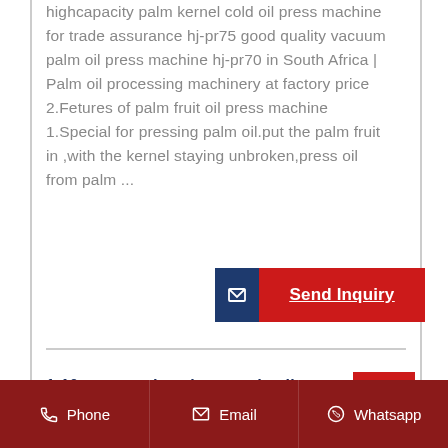highcapacity palm kernel cold oil press machine for trade assurance hj-pr75 good quality vacuum palm oil press machine hj-pr70 in South Africa | Palm oil processing machinery at factory price 2.Fetures of palm fruit oil press machine 1.Special for pressing palm oil.put the palm fruit in ,with the kernel staying unbroken,press oil from palm ...
[Figure (other): Send Inquiry button with dark blue icon section on left and red label on right with white underlined text]
1-10tons per day niger seeds oil press machinery in egypt
[Figure (other): Red scroll-to-top button with white upward arrow]
Phone | Email | Whatsapp